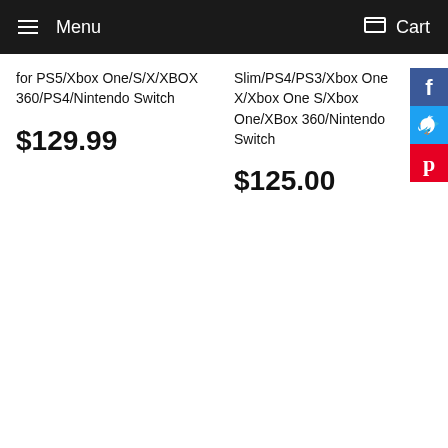Menu  Cart
for PS5/Xbox One/S/X/XBOX 360/PS4/Nintendo Switch
$129.99
Slim/PS4/PS3/Xbox One X/Xbox One S/Xbox One/XBox 360/Nintendo Switch
$125.00